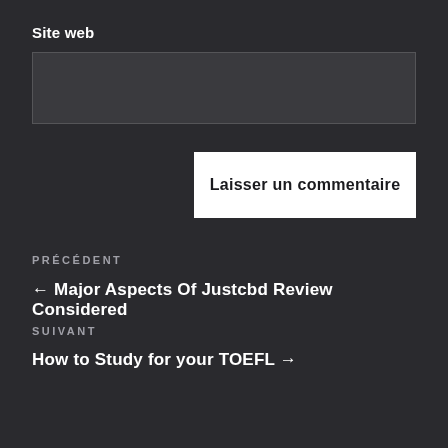Site web
Laisser un commentaire
PRÉCÉDENT
← Major Aspects Of Justcbd Review Considered
SUIVANT
How to Study for your TOEFL →